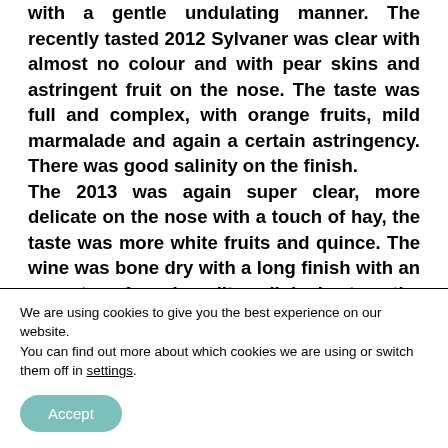with a gentle undulating manner. The recently tasted 2012 Sylvaner was clear with almost no colour and with pear skins and astringent fruit on the nose. The taste was full and complex, with orange fruits, mild marmalade and again a certain astringency. There was good salinity on the finish. The 2013 was again super clear, more delicate on the nose with a touch of hay, the taste was more white fruits and quince. The wine was bone dry with a long finish with an aspect of minerality linked to the Zotzenberg
We are using cookies to give you the best experience on our website.
You can find out more about which cookies we are using or switch them off in settings.
Accept